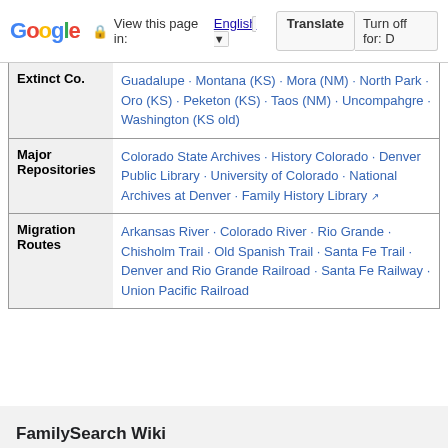Google — View this page in: English ▼  Translate  Turn off for: D
| Extinct Co. | Guadalupe · Montana (KS) · Mora (NM) · North Park · Oro (KS) · Peketon (KS) · Taos (NM) · Uncompahgre · Washington (KS old) |
| Major Repositories | Colorado State Archives · History Colorado · Denver Public Library · University of Colorado · National Archives at Denver · Family History Library ↗ |
| Migration Routes | Arkansas River · Colorado River · Rio Grande · Chisholm Trail · Old Spanish Trail · Santa Fe Trail · Denver and Rio Grande Railroad · Santa Fe Railway · Union Pacific Railroad |
Last edited 7 days ago by Batsondl
FamilySearch Wiki